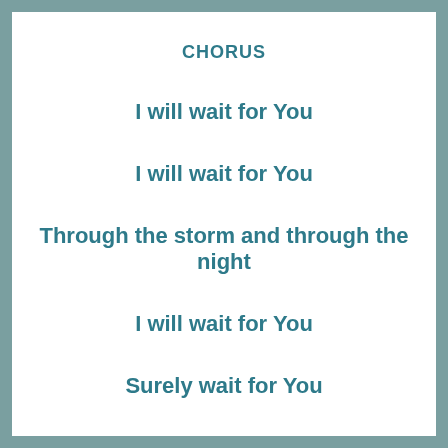CHORUS
I will wait for You
I will wait for You
Through the storm and through the night
I will wait for You
Surely wait for You